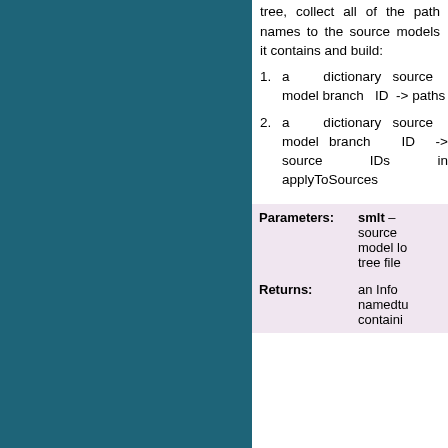tree, collect all of the path names to the source models it contains and build:
1. a dictionary source model branch ID -> paths
2. a dictionary source model branch ID -> source IDs in applyToSources
|  |  |
| --- | --- |
| Parameters: | smlt – source model lo tree file |
| Returns: | an Info namedtu containi |